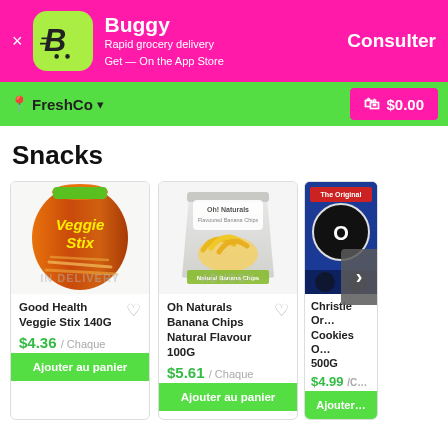[Figure (screenshot): Buggy app advertisement banner with green logo, pink background, showing 'Buggy - Rapid grocery delivery, Get — On the App Store' and 'Consulter' button]
FreshCo   $0.00
Snacks
[Figure (photo): Good Health Veggie Stix 140G product bag]
Good Health Veggie Stix 140G
$4.36 / Chaque
Ajouter au panier
[Figure (photo): Oh Naturals Banana Chips Natural Flavour 100G product bag]
Oh Naturals Banana Chips Natural Flavour 100G
$5.61 / Chaque
Ajouter au panier
[Figure (photo): Christie Oreo Cookies O 500G partially visible]
Christie Or… Cookies O… 500G
$4.99 / C…
Ajouter…